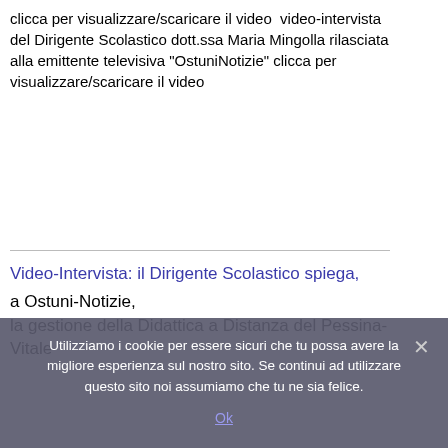clicca per visualizzare/scaricare il video  video-intervista del Dirigente Scolastico dott.ssa Maria Mingolla rilasciata alla emittente televisiva "OstuniNotizie" clicca per visualizzare/scaricare il video
Video-Intervista: il Dirigente Scolastico spiega, a Ostuni-Notizie, la gestione della Didattica a Distanza del Pessina-Vitale (105 2020)
Utilizziamo i cookie per essere sicuri che tu possa avere la migliore esperienza sul nostro sito. Se continui ad utilizzare questo sito noi assumiamo che tu ne sia felice.
Ok